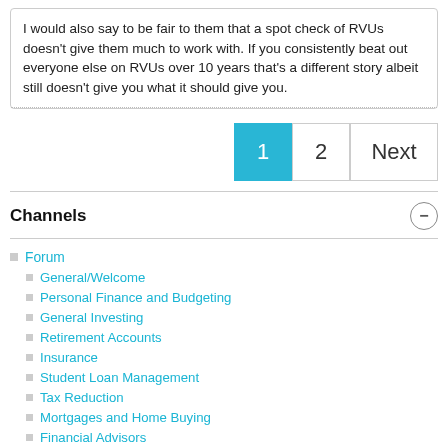I would also say to be fair to them that a spot check of RVUs doesn't give them much to work with. If you consistently beat out everyone else on RVUs over 10 years that's a different story albeit still doesn't give you what it should give you.
1  2  Next
Channels
Forum
General/Welcome
Personal Finance and Budgeting
General Investing
Retirement Accounts
Insurance
Student Loan Management
Tax Reduction
Mortgages and Home Buying
Financial Advisors
Real Estate Investing